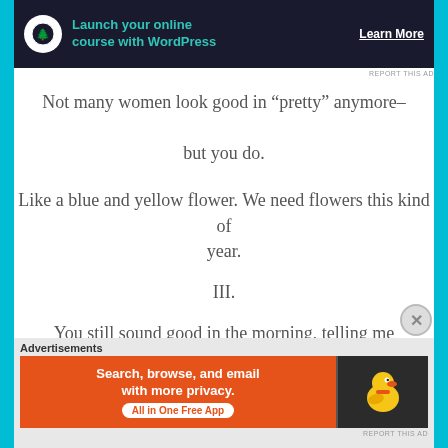[Figure (screenshot): Top advertisement banner: dark background with tree logo icon, teal text 'Launch your online course with WordPress', white 'Learn More' button]
Not many women look good in “pretty” anymore–
but you do.
Like a blue and yellow flower. We need flowers this kind of year.
III.
You still sound good in the morning, telling me
not to be discouraged
Advertisements
[Figure (screenshot): DuckDuckGo advertisement: orange left panel with 'Search, browse, and email with more privacy. All in One Free App' and dark right panel with DuckDuckGo duck logo]